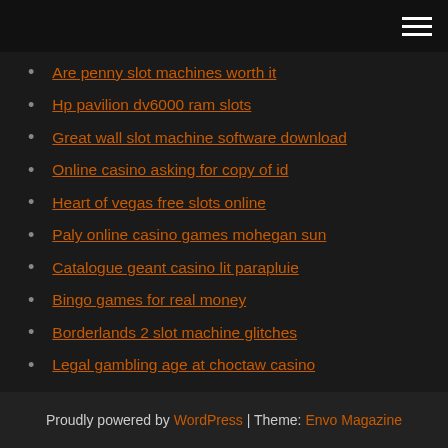[Navigation menu icon]
Are penny slot machines worth it
Hp pavilion dv6000 ram slots
Great wall slot machine software download
Online casino asking for copy of id
Heart of vegas free slots online
Paly online casino games mohegan sun
Catalogue geant casino lit parapluie
Bingo games for real money
Borderlands 2 slot machine glitches
Legal gambling age at choctaw casino
Is there a casino near hattiesburg mississippi
King of prussia casino poker
Proudly powered by WordPress | Theme: Envo Magazine